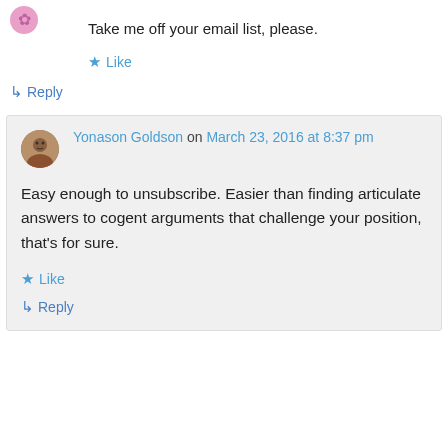[Figure (illustration): Small decorative avatar/icon in pink/purple at top left]
Take me off your email list, please.
★ Like
↳ Reply
Yonason Goldson on March 23, 2016 at 8:37 pm
Easy enough to unsubscribe. Easier than finding articulate answers to cogent arguments that challenge your position, that's for sure.
★ Like
↳ Reply